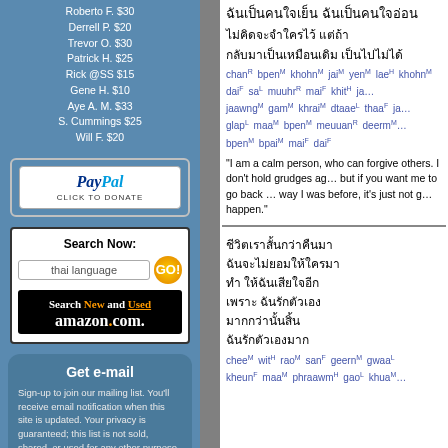Roberto F. $30
Derrell P. $20
Trevor O. $30
Patrick H. $25
Rick @SS $15
Gene H. $10
Aye A. M. $33
S. Cummings $25
Will F. $20
[Figure (logo): PayPal donate button with PayPal logo and 'CLICK TO DONATE' text]
[Figure (screenshot): Search box with 'Search Now:' label, input field containing 'thai language', GO button, and Amazon.com search new and used advertisement]
Get e-mail
Sign-up to join our mailing list. You'll receive email notification when this site is updated. Your privacy is guaranteed; this list is not sold, shared, or used for any other purpose. Click here for more information.
To unsubscribe, click here.
Thai text block with romanization: chanR bpenM khohnM jaiM yenM laeH khohnM daiF saL muuhrR maiF khitH jaawngM gamM khraiM dtaaeL thaaF glapL maaM bpenM meuuanR deermM bpenM bpaiM maiF daiF
"I am a calm person, who can forgive others. I don't hold grudges against anyone, but if you want me to go back to the way I was before, it's just not going to happen."
Thai text block 2 with romanization: cheeM witH raoM sanF geernM gwaaL kheunF maaM phraawmH gaoL khuaM
Second Thai passage continuation